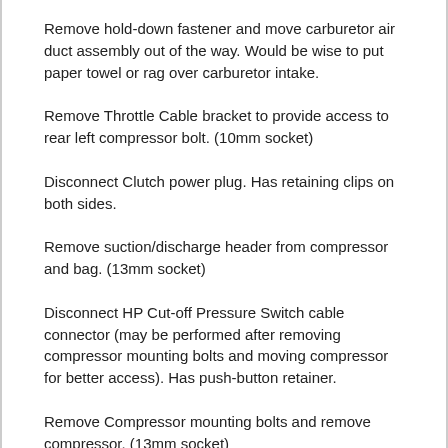Remove hold-down fastener and move carburetor air duct assembly out of the way. Would be wise to put paper towel or rag over carburetor intake.
Remove Throttle Cable bracket to provide access to rear left compressor bolt. (10mm socket)
Disconnect Clutch power plug. Has retaining clips on both sides.
Remove suction/discharge header from compressor and bag. (13mm socket)
Disconnect HP Cut-off Pressure Switch cable connector (may be performed after removing compressor mounting bolts and moving compressor for better access). Has push-button retainer.
Remove Compressor mounting bolts and remove compressor. (13mm socket)
Dump oil from old Compressor and measure quantity.